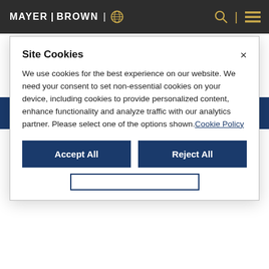MAYER | BROWN
Mantente al tanto de nuestras perspectivas
Suscribirse a correo electrónico
Site Cookies
We use cookies for the best experience on our website. We need your consent to set non-essential cookies on your device, including cookies to provide personalized content, enhance functionality and analyze traffic with our analytics partner. Please select one of the options shown. Cookie Policy
Accept All
Reject All